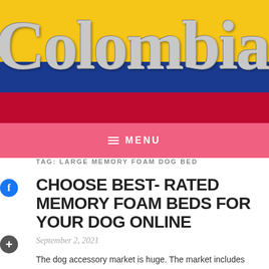[Figure (illustration): Website header banner showing the Colombian flag (yellow, blue, red stripes) as background with large stylized 'Colombia' text overlaid]
≡ MENU
TAG: LARGE MEMORY FOAM DOG BED
CHOOSE BEST- RATED MEMORY FOAM BEDS FOR YOUR DOG ONLINE
September 2, 2021
The dog accessory market is huge. The market includes